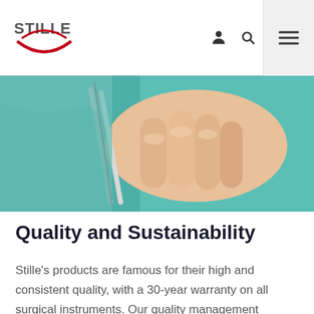STILLE
[Figure (photo): Close-up of a gloved surgeon's hand holding a surgical instrument, wearing a teal/green surgical gown.]
Quality and Sustainability
Stille's products are famous for their high and consistent quality, with a 30-year warranty on all surgical instruments. Our quality management focuses on assuring full patient security and the fulfilment of all national, regional laws, regulations and standards